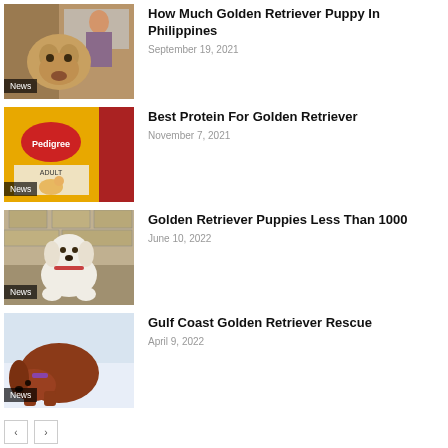[Figure (photo): Golden Retriever dog with a person in background]
How Much Golden Retriever Puppy In Philippines
September 19, 2021
[Figure (photo): Pedigree dog food bag (Meat & Rice)]
Best Protein For Golden Retriever
November 7, 2021
[Figure (photo): White Golden Retriever puppy sitting outdoors]
Golden Retriever Puppies Less Than 1000
June 10, 2022
[Figure (photo): Red/auburn dog with collar rescue photo]
Gulf Coast Golden Retriever Rescue
April 9, 2022